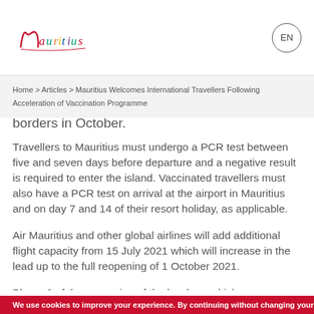Mauritius [logo] | EN
Home > Articles > Mauritius Welcomes International Travellers Following Acceleration of Vaccination Programme
borders in October.
Travellers to Mauritius must undergo a PCR test between five and seven days before departure and a negative result is required to enter the island. Vaccinated travellers must also have a PCR test on arrival at the airport in Mauritius and on day 7 and 14 of their resort holiday, as applicable.
Air Mauritius and other global airlines will add additional flight capacity from 15 July 2021 which will increase in the lead up to the full reopening of 1 October 2021.
Phase 2 of the reopening of the borders, which
We use cookies to improve your experience. By continuing without changing your cookie settings you accept our cookie conditions.